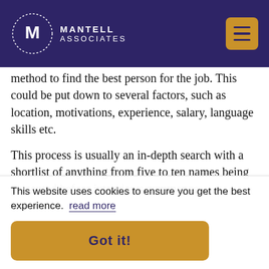[Figure (logo): Mantell Associates logo with M in dotted circle and hamburger menu icon on dark purple header bar]
method to find the best person for the job. This could be put down to several factors, such as location, motivations, experience, salary, language skills etc.
This process is usually an in-depth search with a shortlist of anything from five to ten names being presented before interviews commence.
This website uses cookies to ensure you get the best experience. read more
Got it!